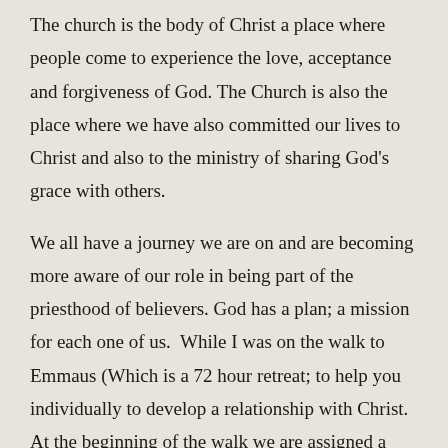The church is the body of Christ a place where people come to experience the love, acceptance and forgiveness of God. The Church is also the place where we have also committed our lives to Christ and also to the ministry of sharing God's grace with others.
We all have a journey we are on and are becoming more aware of our role in being part of the priesthood of believers. God has a plan; a mission for each one of us.  While I was on the walk to Emmaus (Which is a 72 hour retreat; to help you individually to develop a relationship with Christ. At the beginning of the walk we are assigned a table group. This group was our family for the next 72 hours, my table was the table of Rebecca.) By the time Pastor Helen told me to become